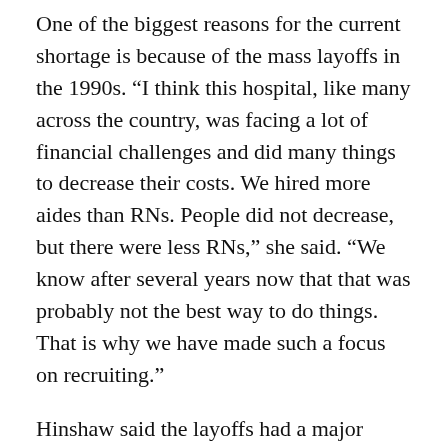One of the biggest reasons for the current shortage is because of the mass layoffs in the 1990s. “I think this hospital, like many across the country, was facing a lot of financial challenges and did many things to decrease their costs. We hired more aides than RNs. People did not decrease, but there were less RNs,” she said. “We know after several years now that that was probably not the best way to do things. That is why we have made such a focus on recruiting.”
Hinshaw said the layoffs had a major affect on the field of nursing. “(They) depressed the market, (and) told people not to come into nursing because there were no jobs,” she said.